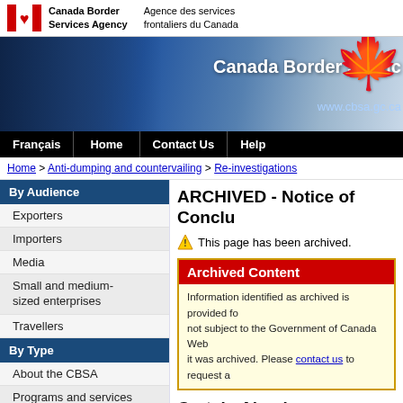Canada Border Services Agency / Agence des services frontaliers du Canada
[Figure (screenshot): Canada Border Services Agency banner with officers and maple leaf logo, URL www.cbsa.gc.ca]
Français | Home | Contact Us | Help
Home > Anti-dumping and countervailing > Re-investigations
ARCHIVED - Notice of Conclusions
⚠ This page has been archived.
Archived Content
Information identified as archived is provided for reference, research or recordkeeping purposes. It is not subject to the Government of Canada Web Standards and has not been altered or updated since it was archived. Please contact us to request a format other than those available.
Certain Aluminum Extrusions
Dumping file #: 4214-22
Dumping case #: AD/1379